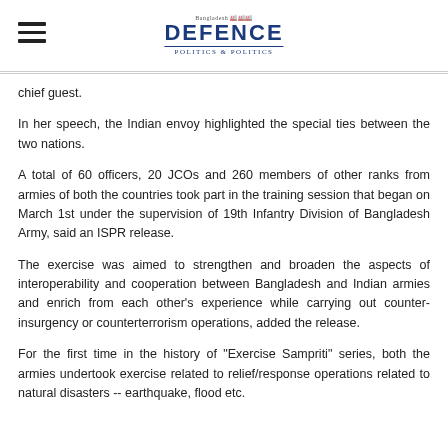DEFENCE (Bangladesh Defence Politics)
chief guest.
In her speech, the Indian envoy highlighted the special ties between the two nations.
A total of 60 officers, 20 JCOs and 260 members of other ranks from armies of both the countries took part in the training session that began on March 1st under the supervision of 19th Infantry Division of Bangladesh Army, said an ISPR release.
The exercise was aimed to strengthen and broaden the aspects of interoperability and cooperation between Bangladesh and Indian armies and enrich from each other's experience while carrying out counter-insurgency or counterterrorism operations, added the release.
For the first time in the history of "Exercise Sampriti" series, both the armies undertook exercise related to relief/response operations related to natural disasters -- earthquake, flood etc.